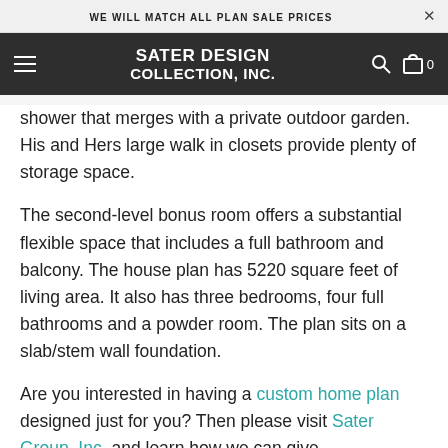WE WILL MATCH ALL PLAN SALE PRICES
[Figure (logo): Sater Design Collection, Inc. logo in white bold text on dark background with hamburger menu, search icon, and cart icon]
shower that merges with a private outdoor garden. His and Hers large walk in closets provide plenty of storage space.
The second-level bonus room offers a substantial flexible space that includes a full bathroom and balcony. The house plan has 5220 square feet of living area. It also has three bedrooms, four full bathrooms and a powder room. The plan sits on a slab/stem wall foundation.
Are you interested in having a custom home plan designed just for you? Then please visit Sater Group, Inc. and learn how we can give